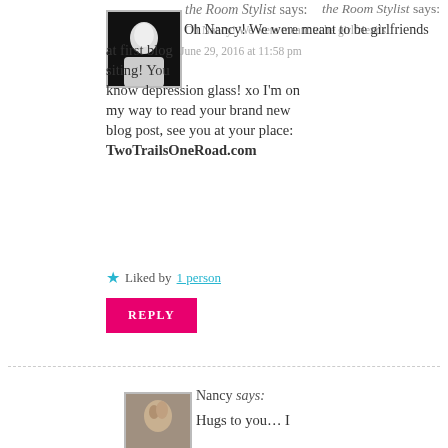[Figure (photo): Black and white portrait photo of a woman with short hair wearing a white top, avatar for commenter 'the Room Stylist']
the Room Stylist says:
Oh Nancy! We were meant to be girlfriends at first blog  June 29, 2016 at 11:58 pm
siting! You know depression glass! xo I'm on my way to read your brand new blog post, see you at your place:
TwoTrailsOneRoad.com
★ Liked by 1 person
REPLY
[Figure (photo): Sepia-toned statue or figurine photo, avatar for commenter 'Nancy']
Nancy says:
Hugs to you... I